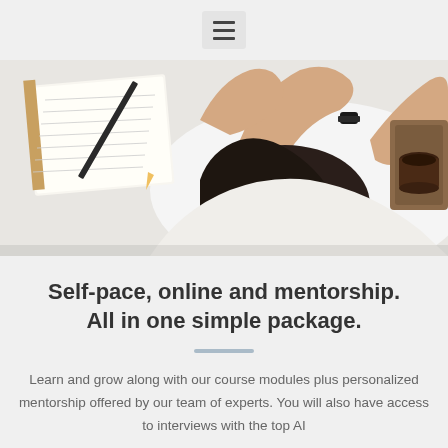[Figure (photo): Overhead view of a person with dark hair lying face-down on a white desk, arms outstretched, wearing a black watch and white shirt. A spiral notebook/planner and pencil are visible to the left, and a wooden tray with a cup is visible to the right.]
Self-pace, online and mentorship. All in one simple package.
Learn and grow along with our course modules plus personalized mentorship offered by our team of experts. You will also have access to interviews with the top AI